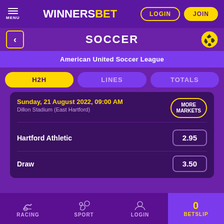[Figure (screenshot): WinnersBet sports betting app header with menu, logo, LOGIN and JOIN buttons]
SOCCER
American United Soccer League
H2H
LINES
TOTALS
Sunday, 21 August 2022, 09:00 AM
Dillon Stadium (East Hartford)
MORE MARKETS
Hartford Athletic
2.95
Draw
3.50
RACING  SPORT  LOGIN  0 BETSLIP